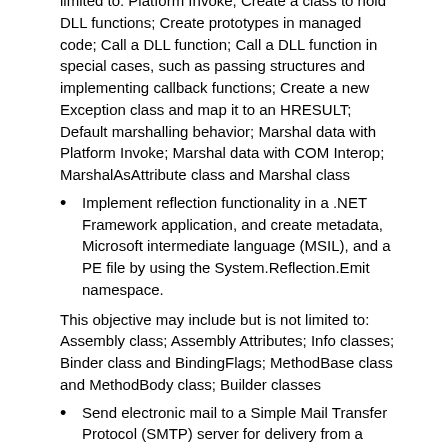limited to: Platform Invoke; Create a class to hold DLL functions; Create prototypes in managed code; Call a DLL function; Call a DLL function in special cases, such as passing structures and implementing callback functions; Create a new Exception class and map it to an HRESULT; Default marshalling behavior; Marshal data with Platform Invoke; Marshal data with COM Interop; MarshalAsAttribute class and Marshal class
Implement reflection functionality in a .NET Framework application, and create metadata, Microsoft intermediate language (MSIL), and a PE file by using the System.Reflection.Emit namespace.
This objective may include but is not limited to: Assembly class; Assembly Attributes; Info classes; Binder class and BindingFlags; MethodBase class and MethodBody class; Builder classes
Send electronic mail to a Simple Mail Transfer Protocol (SMTP) server for delivery from a .NET Framework application.
This objective may include but is not